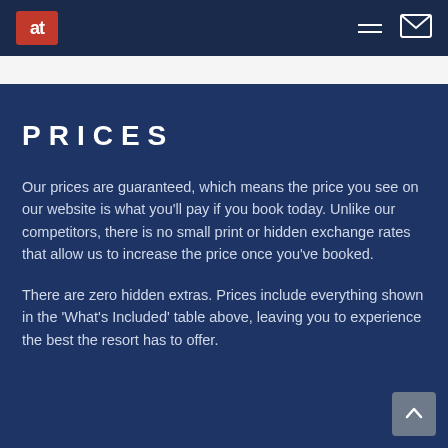at [logo] navigation bar
PRICES
Our prices are guaranteed, which means the price you see on our website is what you'll pay if you book today. Unlike our competitors, there is no small print or hidden exchange rates that allow us to increase the price once you've booked.
There are zero hidden extras. Prices include everything shown in the 'What's Included' table above, leaving you to experience the best the resort has to offer.